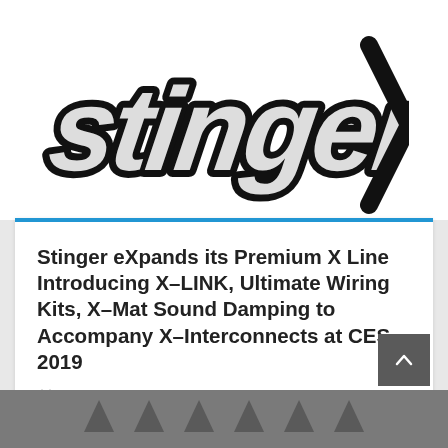[Figure (logo): Stinger brand logo in stylized script lettering with black outline on white background, partially cropped at top]
Stinger eXpands its Premium X Line Introducing X-LINK, Ultimate Wiring Kits, X-Mat Sound Damping to Accompany X-Interconnects at CES 2019
January 8, 2019
...
READ MORE ❯
[Figure (other): Gray strip at bottom of page with partial arrow/chevron shapes visible]